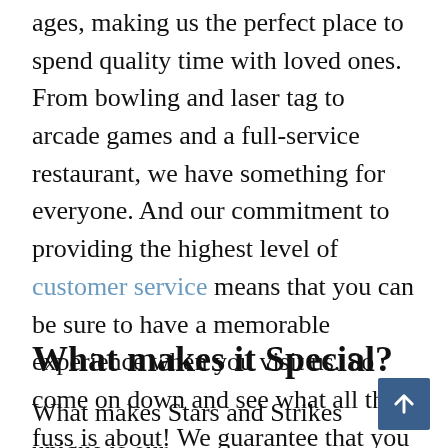ages, making us the perfect place to spend quality time with loved ones. From bowling and laser tag to arcade games and a full-service restaurant, we have something for everyone. And our commitment to providing the highest level of customer service means that you can be sure to have a memorable experience when you visit us. So come on down and see what all the fuss is about! We guarantee that you won't be disappointed.
What makes it Special?
What makes Stars and Strikes unique is our